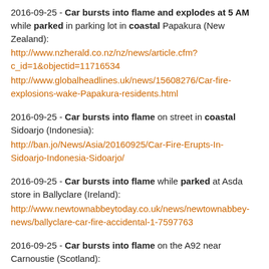2016-09-25 - Car bursts into flame and explodes at 5 AM while parked in parking lot in coastal Papakura (New Zealand): http://www.nzherald.co.nz/nz/news/article.cfm?c_id=1&objectid=11716534 http://www.globalheadlines.uk/news/15608276/Car-fire-explosions-wake-Papakura-residents.html
2016-09-25 - Car bursts into flame on street in coastal Sidoarjo (Indonesia): http://ban.jo/News/Asia/20160925/Car-Fire-Erupts-In-Sidoarjo-Indonesia-Sidoarjo/
2016-09-25 - Car bursts into flame while parked at Asda store in Ballyclare (Ireland): http://www.newtownabbeytoday.co.uk/news/newtownabbey-news/ballyclare-car-fire-accidental-1-7597763
2016-09-25 - Car bursts into flame on the A92 near Carnoustie (Scotland): https://www.thecourier.co.uk/fp/news/local/angus-mearns/290850/watch-traffic-chaos-car-fire-closes-a92-near-